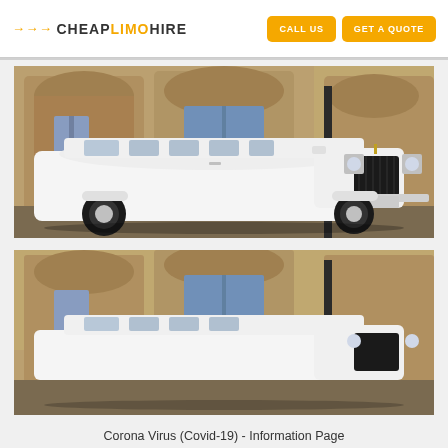>>> CHEAPLIMOHIRE  CALL US  GET A QUOTE
[Figure (photo): White stretch Rolls-Royce Phantom limousine parked in front of a stone building with arched windows]
[Figure (photo): Partial view of same or similar white stretch limousine parked in front of stone building, cropped]
Corona Virus (Covid-19) - Information Page